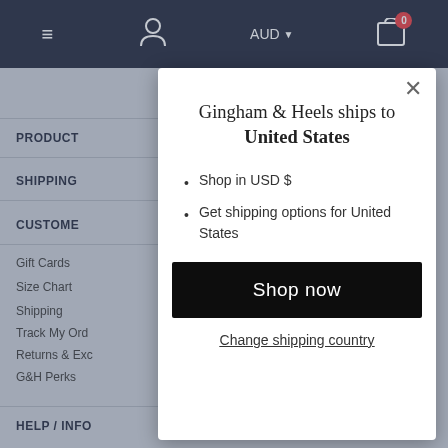[Figure (screenshot): E-commerce website background with dark navy navigation bar showing hamburger menu, user icon, AUD currency selector, and shopping cart with badge showing 0 items. Below nav bar is a grey page with sidebar navigation items: PRODUCTS, SHIPPING, CUSTOMER (sections with chevrons), and links: Gift Cards, Size Chart, Shipping, Track My Order, Returns & Exchanges, G&H Perks, and HELP/INFO.]
[Figure (screenshot): Modal dialog overlay on e-commerce page. White modal box with X close button. Title reads 'Gingham & Heels ships to United States'. Bullet points: 'Shop in USD $' and 'Get shipping options for United States'. Black 'Shop now' button. Link 'Change shipping country'.]